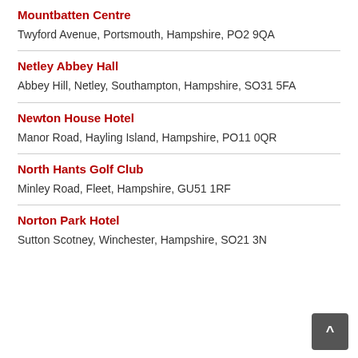Mountbatten Centre
Twyford Avenue, Portsmouth, Hampshire, PO2 9QA
Netley Abbey Hall
Abbey Hill, Netley, Southampton, Hampshire, SO31 5FA
Newton House Hotel
Manor Road, Hayling Island, Hampshire, PO11 0QR
North Hants Golf Club
Minley Road, Fleet, Hampshire, GU51 1RF
Norton Park Hotel
Sutton Scotney, Winchester, Hampshire, SO21 3N